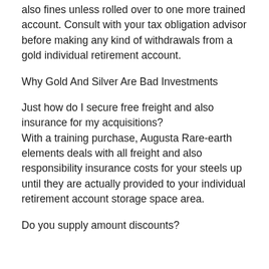also fines unless rolled over to one more trained account. Consult with your tax obligation advisor before making any kind of withdrawals from a gold individual retirement account.
Why Gold And Silver Are Bad Investments
Just how do I secure free freight and also insurance for my acquisitions? With a training purchase, Augusta Rare-earth elements deals with all freight and also responsibility insurance costs for your steels up until they are actually provided to your individual retirement account storage space area.
Do you supply amount discounts?